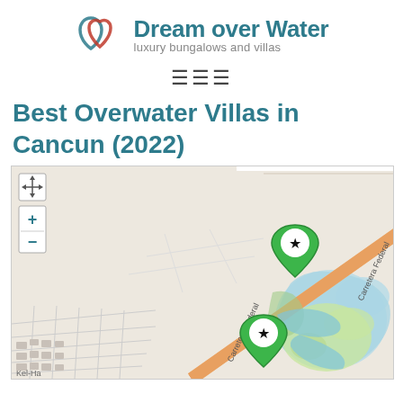[Figure (logo): Dream over Water logo with two overlapping heart/circle shapes in teal and red, followed by text 'Dream over Water' in teal and 'luxury bungalows and villas' in gray]
Best Overwater Villas in Cancun (2022)
[Figure (map): OpenStreetMap-style map of Cancun area showing Carretera Federal road (highlighted in orange/red), surrounding streets, green resort areas with water features, and two green map pin markers with black stars indicating overwater villa locations.]